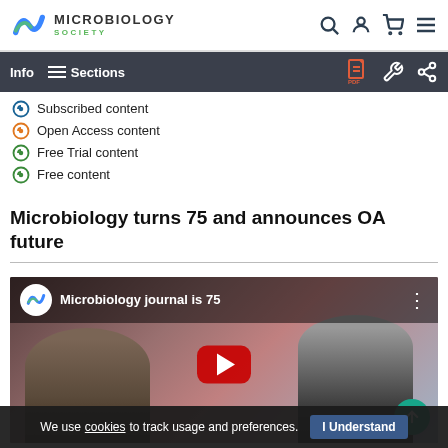[Figure (screenshot): Microbiology Society website top navigation bar with logo, search, account, cart, and menu icons]
[Figure (screenshot): Secondary navigation bar with Info and Sections buttons, plus PDF, tools, and share icons on right]
Subscribed content
Open Access content
Free Trial content
Free content
Microbiology turns 75 and announces OA future
[Figure (screenshot): YouTube video thumbnail showing two people in an office/conference room setting with overlay text 'Microbiology journal is 75' and a red play button]
We use cookies to track usage and preferences. I Understand